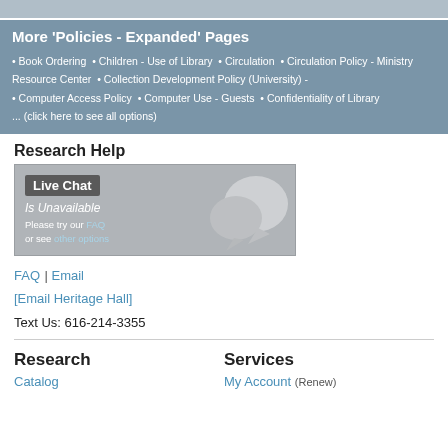More 'Policies - Expanded' Pages
• Book Ordering • Children - Use of Library • Circulation • Circulation Policy - Ministry Resource Center • Collection Development Policy (University) - • Computer Access Policy • Computer Use - Guests • Confidentiality of Library ... (click here to see all options)
Research Help
[Figure (screenshot): Live Chat Is Unavailable banner with speech bubble graphic. Text reads: Live Chat Is Unavailable. Please try our FAQ or see other options.]
FAQ | Email
[Email Heritage Hall]
Text Us: 616-214-3355
Research
Services
Catalog
My Account (Renew)